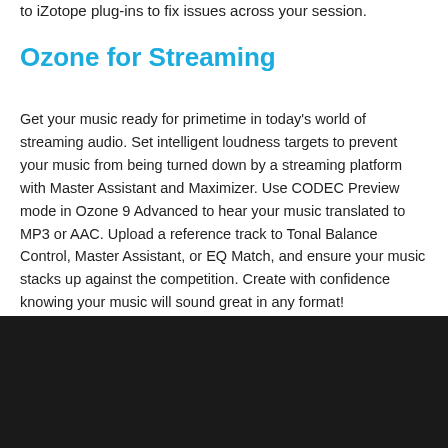to iZotope plug-ins to fix issues across your session.
Ozone for Streaming
Get your music ready for primetime in today’s world of streaming audio. Set intelligent loudness targets to prevent your music from being turned down by a streaming platform with Master Assistant and Maximizer. Use CODEC Preview mode in Ozone 9 Advanced to hear your music translated to MP3 or AAC. Upload a reference track to Tonal Balance Control, Master Assistant, or EQ Match, and ensure your music stacks up against the competition. Create with confidence knowing your music will sound great in any format!
[Figure (screenshot): Screenshot of a music software interface with a dark background, partially obscured by a cookie consent banner. The banner reads: 'We use cookies to ensure you get the best experience n our website. Learn more' with a blue 'Got it' button. Below the banner is a colorful image strip.]